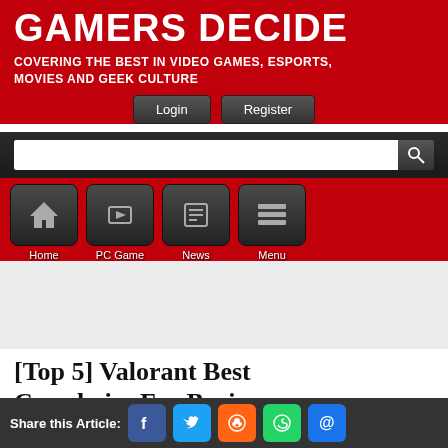GAMERS DECIDE
COVERING THE BEST IN VIDEO GAMES, ESPORTS, MOVIES AND GEEK CULTURE
[Figure (screenshot): Website header navigation with Home, PC Game, News, Menu icon buttons on red background with search bar]
[Top 5] Valorant Best Crosshairs For Beginners
Share this Article: